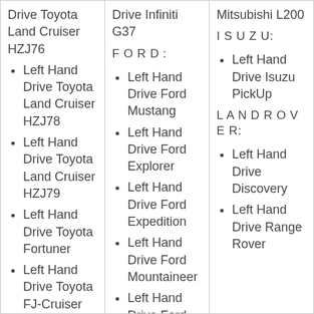Drive Toyota Land Cruiser HZJ76
Left Hand Drive Toyota Land Cruiser HZJ78
Left Hand Drive Toyota Land Cruiser HZJ79
Left Hand Drive Toyota Fortuner
Left Hand Drive Toyota FJ-Cruiser
Left Hand Drive Toyota
Drive Infiniti G37
F O R D :
Left Hand Drive Ford Mustang
Left Hand Drive Ford Explorer
Left Hand Drive Ford Expedition
Left Hand Drive Ford Mountaineer
Left Hand Drive Ford
Mitsubishi L200
I S U Z U:
Left Hand Drive Isuzu PickUp
L A N D R O V E R:
Left Hand Drive Discovery
Left Hand Drive Range Rover